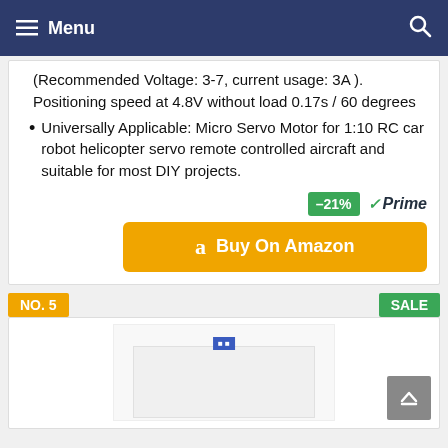Menu
(Recommended Voltage: 3-7, current usage: 3A ). Positioning speed at 4.8V without load 0.17s / 60 degrees
Universally Applicable: Micro Servo Motor for 1:10 RC car robot helicopter servo remote controlled aircraft and suitable for most DIY projects.
–21% Prime Buy On Amazon
NO. 5
SALE
[Figure (photo): Product image placeholder for item No. 5]